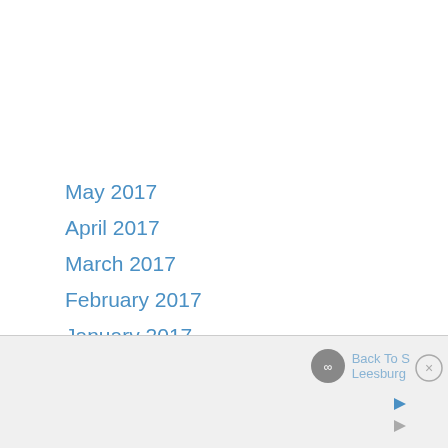May 2017
April 2017
March 2017
February 2017
January 2017
December 2016
November 2016
October 2016